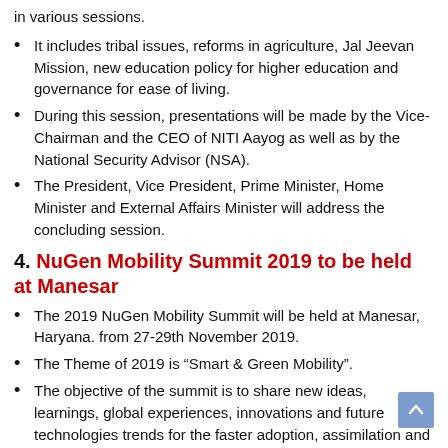in various sessions.
It includes tribal issues, reforms in agriculture, Jal Jeevan Mission, new education policy for higher education and governance for ease of living.
During this session, presentations will be made by the Vice-Chairman and the CEO of NITI Aayog as well as by the National Security Advisor (NSA).
The President, Vice President, Prime Minister, Home Minister and External Affairs Minister will address the concluding session.
4. NuGen Mobility Summit 2019 to be held at Manesar
The 2019 NuGen Mobility Summit will be held at Manesar, Haryana. from 27-29th November 2019.
The Theme of 2019 is “Smart & Green Mobility”.
The objective of the summit is to share new ideas, learnings, global experiences, innovations and future technologies trends for the faster adoption, assimilation and development of advanced Automotive Technologies for a smarter and greener future.
Note: